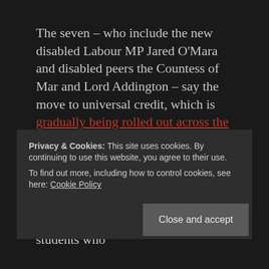The seven – who include the new disabled Labour MP Jared O'Mara and disabled peers the Countess of Mar and Lord Addington – say the move to universal credit, which is gradually being rolled out across the country, could make university unaffordable for many young disabled people.
At present, disabled full-time students who
Privacy & Cookies: This site uses cookies. By continuing to use this website, you agree to their use. To find out more, including how to control cookies, see here: Cookie Policy